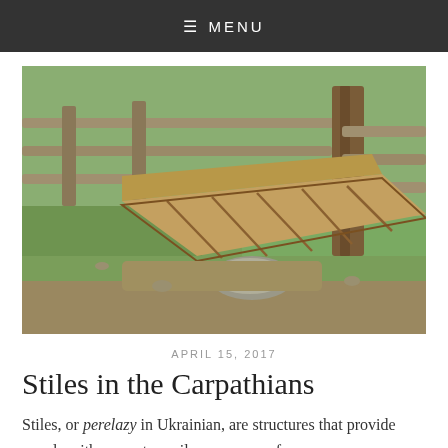≡ MENU
[Figure (photo): Wooden stile structure leaning against a split-rail fence in a grassy outdoor area, supported by a large stone at the base. The stile consists of several weathered planks arranged at an angle, with a wooden post visible on the right side.]
APRIL 15, 2017
Stiles in the Carpathians
Stiles, or perelazy in Ukrainian, are structures that provide people with a way to easily pass over a fence